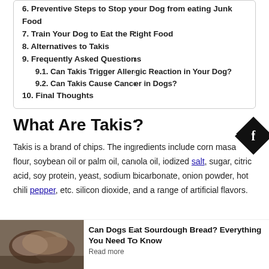6. Preventive Steps to Stop your Dog from eating Junk Food
7. Train Your Dog to Eat the Right Food
8. Alternatives to Takis
9. Frequently Asked Questions
9.1. Can Takis Trigger Allergic Reaction in Your Dog?
9.2. Can Takis Cause Cancer in Dogs?
10. Final Thoughts
What Are Takis?
Takis is a brand of chips. The ingredients include corn masa flour, soybean oil or palm oil, canola oil, iodized salt, sugar, citric acid, soy protein, yeast, sodium bicarbonate, onion powder, hot chili pepper, etc. silicon dioxide, and a range of artificial flavors.
Related Post
[Figure (photo): Photo of sourdough bread loaves]
Can Dogs Eat Sourdough Bread? Everything You Need To Know
Read more